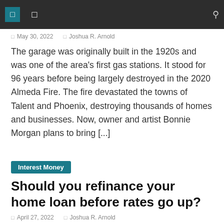Navigation bar with icons
May 30, 2022  Joshua R. Arnold
The garage was originally built in the 1920s and was one of the area's first gas stations. It stood for 96 years before being largely destroyed in the 2020 Almeda Fire. The fire devastated the towns of Talent and Phoenix, destroying thousands of homes and businesses. Now, owner and artist Bonnie Morgan plans to bring [...]
Interest Money
Should you refinance your home loan before rates go up?
April 27, 2022  Joshua R. Arnold
Interest rates are expected to rise in just weeks, with June 7 confirming itself as the likeliest date for the Reserve Bank to